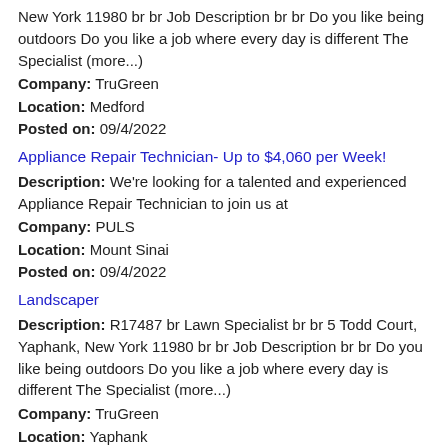New York 11980 br br Job Description br br Do you like being outdoors Do you like a job where every day is different The Specialist (more...)
Company: TruGreen
Location: Medford
Posted on: 09/4/2022
Appliance Repair Technician- Up to $4,060 per Week!
Description: We're looking for a talented and experienced Appliance Repair Technician to join us at
Company: PULS
Location: Mount Sinai
Posted on: 09/4/2022
Landscaper
Description: R17487 br Lawn Specialist br br 5 Todd Court, Yaphank, New York 11980 br br Job Description br br Do you like being outdoors Do you like a job where every day is different The Specialist (more...)
Company: TruGreen
Location: Yaphank
Posted on: 09/4/2022